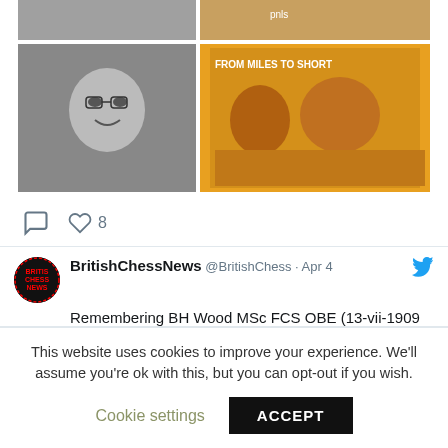[Figure (photo): Two photos side by side: left is a black-and-white photo of a man with glasses, right is a colorful book/movie cover reading 'FROM MILES TO SHORT']
♡  8
BritishChessNews @BritishChess · Apr 4  Remembering BH Wood MSc FCS OBE (13-vii-1909 04-iv-1989) britishchessnews.com/2020/04/04/rem…  #chess #remembering @ecfchess @Biogsguy @NBlackb24729264 @brigosling @bstephen2 @Hilbert19John @ChessScholar @KingpinEd
This website uses cookies to improve your experience. We'll assume you're ok with this, but you can opt-out if you wish.
Cookie settings  ACCEPT